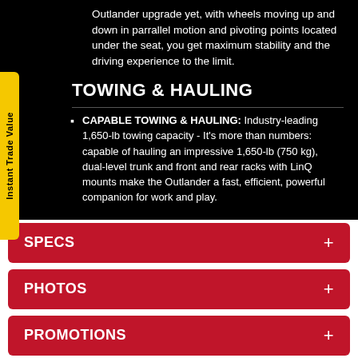Outlander upgrade yet, with wheels moving up and down in parrallel motion and pivoting points located under the seat, you get maximum stability and the driving experience to the limit.
TOWING & HAULING
CAPABLE TOWING & HAULING: Industry-leading 1,650-lb towing capacity - It's more than numbers: capable of hauling an impressive 1,650-lb (750 kg), dual-level trunk and front and rear racks with LinQ mounts make the Outlander a fast, efficient, powerful companion for work and play.
SPECS +
PHOTOS +
PROMOTIONS +
Due to continued challenges across supplier networks